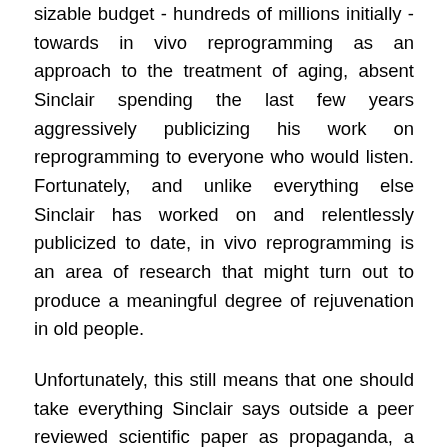sizable budget - hundreds of millions initially - towards in vivo reprogramming as an approach to the treatment of aging, absent Sinclair spending the last few years aggressively publicizing his work on reprogramming to everyone who would listen. Fortunately, and unlike everything else Sinclair has worked on and relentlessly publicized to date, in vivo reprogramming is an area of research that might turn out to produce a meaningful degree of rejuvenation in old people.
Unfortunately, this still means that one should take everything Sinclair says outside a peer reviewed scientific paper as propaganda, a matter of talking up his position and enabling the companies he is involved in to raise funds and find exits. Self-promotion is a game in which one can win every battle and still lose the war, as people come to filter everything one says through the lens of self-interest and then disregard it. Perhaps Sinclair believes in